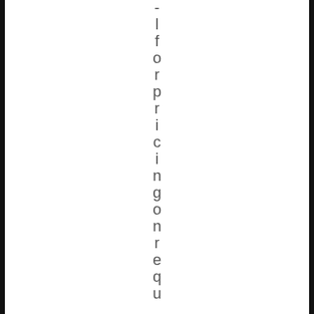- l f o r p r i c i n g o n r e q u